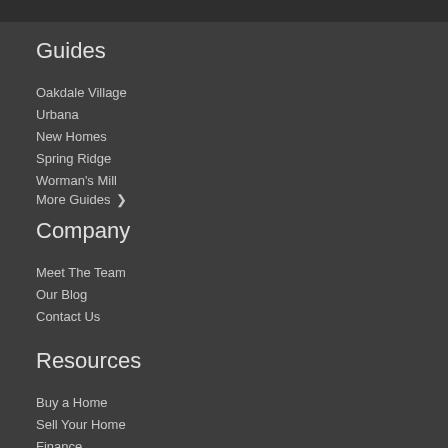Guides
Oakdale Village
Urbana
New Homes
Spring Ridge
Worman's Mill
More Guides >
Company
Meet The Team
Our Blog
Contact Us
Resources
Buy a Home
Sell Your Home
Finance